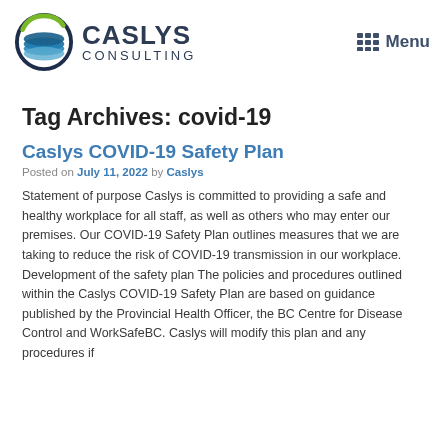[Figure (logo): Caslys Consulting logo with circular globe icon and company name]
Menu
Tag Archives: covid-19
Caslys COVID-19 Safety Plan
Posted on July 11, 2022 by Caslys
Statement of purpose Caslys is committed to providing a safe and healthy workplace for all staff, as well as others who may enter our premises. Our COVID-19 Safety Plan outlines measures that we are taking to reduce the risk of COVID-19 transmission in our workplace. Development of the safety plan The policies and procedures outlined within the Caslys COVID-19 Safety Plan are based on guidance published by the Provincial Health Officer, the BC Centre for Disease Control and WorkSafeBC. Caslys will modify this plan and any procedures if